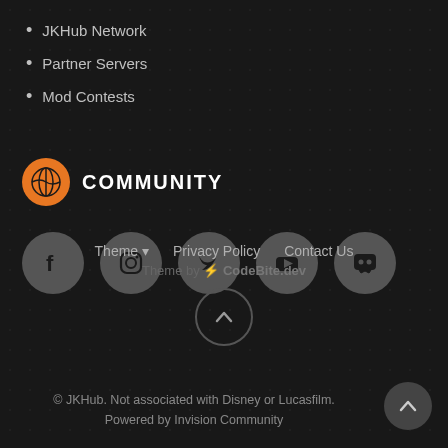JKHub Network
Partner Servers
Mod Contests
COMMUNITY
[Figure (illustration): Row of 5 social media icon circles: Facebook, Instagram, Twitter, YouTube, Discord]
Theme ▾   Privacy Policy   Contact Us
Theme by ⚡ CodeBite.dev
© JKHub. Not associated with Disney or Lucasfilm.
Powered by Invision Community